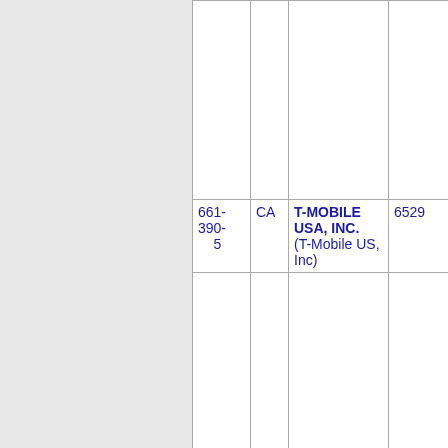| Number | State | Company | Code |
| --- | --- | --- | --- |
| 661-390-5 | CA | T-MOBILE USA, INC. (T-Mobile US, Inc) | 6529 |
| 661-390-6 | CA | T-MOBILE USA, INC. (T-Mobile US, Inc) | 6529 |